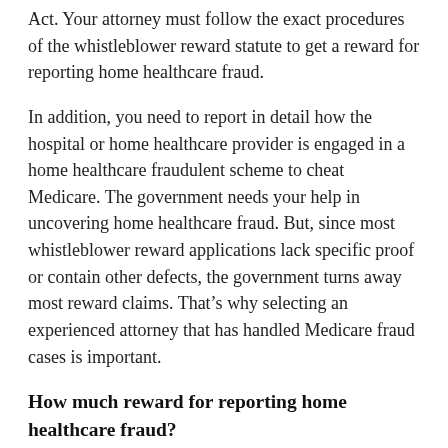Act. Your attorney must follow the exact procedures of the whistleblower reward statute to get a reward for reporting home healthcare fraud.
In addition, you need to report in detail how the hospital or home healthcare provider is engaged in a home healthcare fraudulent scheme to cheat Medicare. The government needs your help in uncovering home healthcare fraud. But, since most whistleblower reward applications lack specific proof or contain other defects, the government turns away most reward claims. That's why selecting an experienced attorney that has handled Medicare fraud cases is important.
How much reward for reporting home healthcare fraud?
The amount of a whistleblower reward for reporting home healthcare fraud is based upon the amount of money Medicare recovers back due to the home healthcare fraud, and the reward is between 15% and 25% of what the